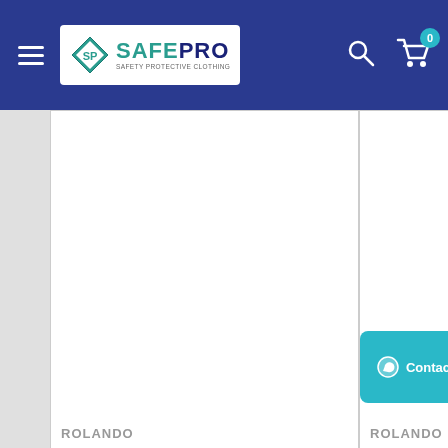SAFEPRO - Safety Protective Clothing
[Figure (screenshot): Product card left: ROLANDO product with blank white image area]
[Figure (screenshot): Product card right (partial): ROLANDO product with blank white image area and teal Contact us button]
ROLANDO
ROLANDO